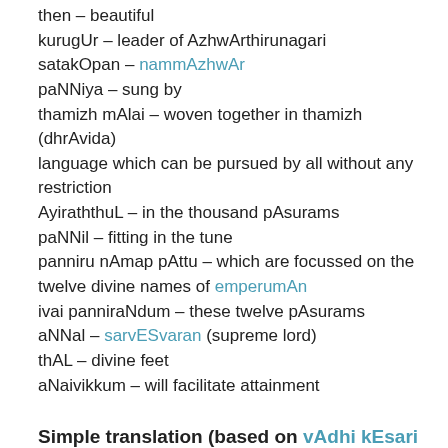then – beautiful
kurugUr – leader of AzhwArthirunagari
satakOpan – nammAzhwAr
paNNiya – sung by
thamizh mAlai – woven together in thamizh (dhrAvida) language which can be pursued by all without any restriction
AyiraththuL – in the thousand pAsurams
paNNil – fitting in the tune
panniru nAmap pAttu – which are focussed on the twelve divine names of emperumAn
ivai panniraNdum – these twelve pAsurams
aNNal – sarvESvaran (supreme lord)
thAL – divine feet
aNaivikkum – will facilitate attainment
Simple translation (based on vAdhi kEsari